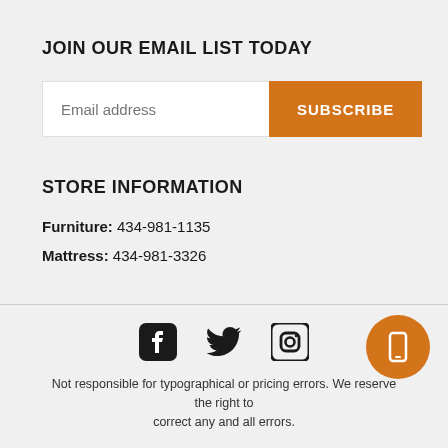JOIN OUR EMAIL LIST TODAY
Email address | SUBSCRIBE
STORE INFORMATION
Furniture: 434-981-1135
Mattress: 434-981-3326
[Figure (infographic): Social media icons: Facebook, Twitter, Instagram; orange circular mobile button]
Not responsible for typographical or pricing errors. We reserve the right to correct any and all errors.